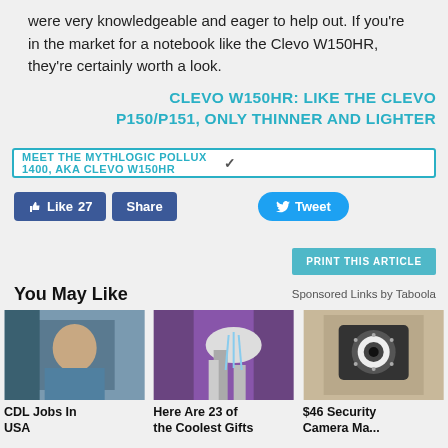were very knowledgeable and eager to help out. If you're in the market for a notebook like the Clevo W150HR, they're certainly worth a look.
CLEVO W150HR: LIKE THE CLEVO P150/P151, ONLY THINNER AND LIGHTER
MEET THE MYTHLOGIC POLLUX 1400, AKA CLEVO W150HR
[Figure (screenshot): Facebook Like (27) and Share buttons, Twitter Tweet button]
PRINT THIS ARTICLE
You May Like
Sponsored Links by Taboola
[Figure (photo): Woman in truck cab — CDL Jobs In USA]
CDL Jobs In USA
[Figure (photo): Hands under running water with device — Here Are 23 of the Coolest Gifts]
Here Are 23 of the Coolest Gifts
[Figure (photo): Security camera close-up — $46 Security Camera Makes]
$46 Security Camera Ma...